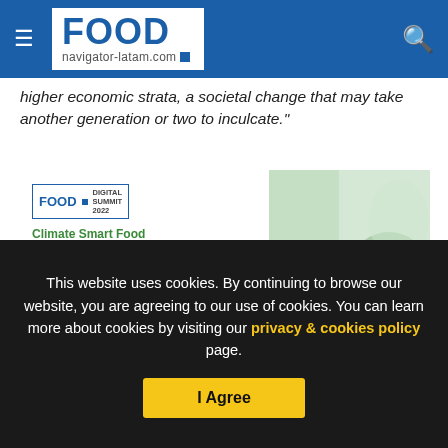FOOD navigator-latam.com
higher economic strata, a societal change that may take another generation or two to inculcate."
[Figure (illustration): Food Navigator Digital Summit 2022 Climate Smart Food event card with logo badge, date 20-22 September 2022, title 'Climate Smart Food', and green plant background photo on the right.]
This website uses cookies. By continuing to browse our website, you are agreeing to our use of cookies. You can learn more about cookies by visiting our privacy & cookies policy page.